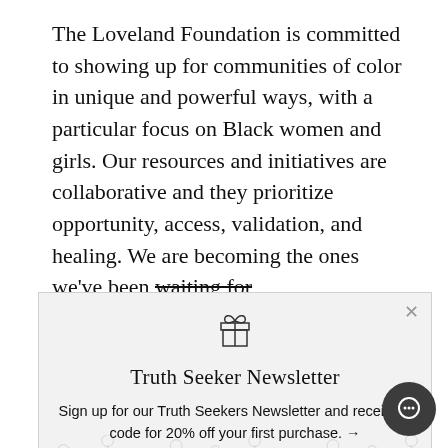The Loveland Foundation is committed to showing up for communities of color in unique and powerful ways, with a particular focus on Black women and girls. Our resources and initiatives are collaborative and they prioritize opportunity, access, validation, and healing. We are becoming the ones we've been waiting for
[Figure (screenshot): Modal popup for Truth Seeker Newsletter with gift box icon, title 'Truth Seeker Newsletter', body text 'Sign up for our Truth Seekers Newsletter and receive a code for 20% off your first purchase. →', decorative floral illustration background, and close (×) button]
The Loveland Foundation was established in 20[truncated] by Rachel Cargle in response to her widely successful birthday wish fundraiser, Therapy for